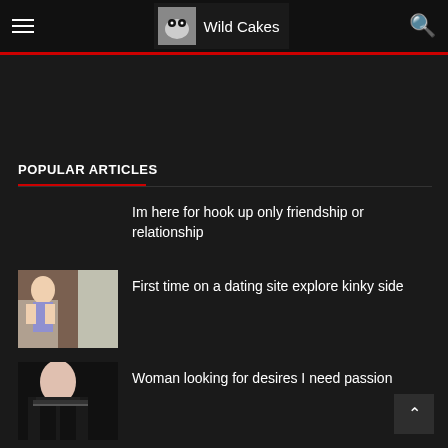Wild Cakes
POPULAR ARTICLES
Im here for hook up only friendship or relationship
First time on a dating site explore kinky side
Woman looking for desires I need passion